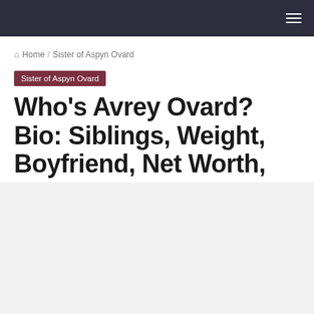Navigation bar with hamburger menu
Home / Sister of Aspyn Ovard
Sister of Aspyn Ovard
Who’s Avrey Ovard? Bio: Siblings, Weight, Boyfriend, Net Worth, Ethnicity
Christian Mansel 🔥 68